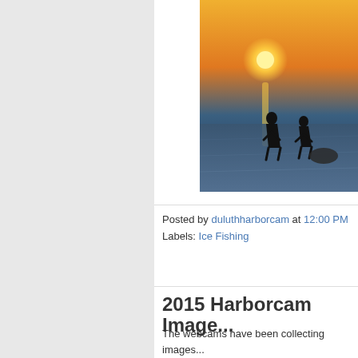[Figure (photo): Two silhouettes of people walking on frozen Lake Superior with a sunset in the background, orange and golden sky with sun on the horizon, icy reflective surface in foreground]
Posted by duluthharborcam at 12:00 PM
Labels: Ice Fishing
2015 Harborcam Image...
The webcams have been collecting images... a gallery of some of these boat arrivals and observe the different moods of Lake Supe...